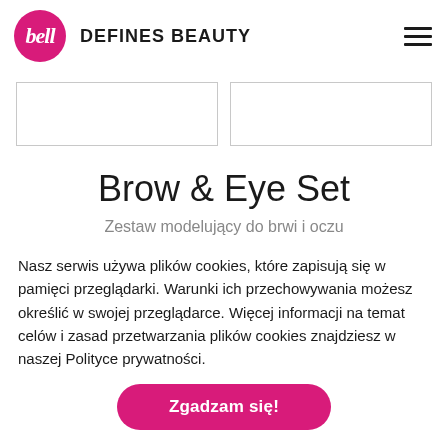bell DEFINES BEAUTY
[Figure (photo): Two placeholder product image boxes side by side]
Brow & Eye Set
Zestaw modelujący do brwi i oczu
Nasz serwis używa plików cookies, które zapisują się w pamięci przeglądarki. Warunki ich przechowywania możesz określić w swojej przeglądarce. Więcej informacji na temat celów i zasad przetwarzania plików cookies znajdziesz w naszej Polityce prywatności.
Zgadzam się!